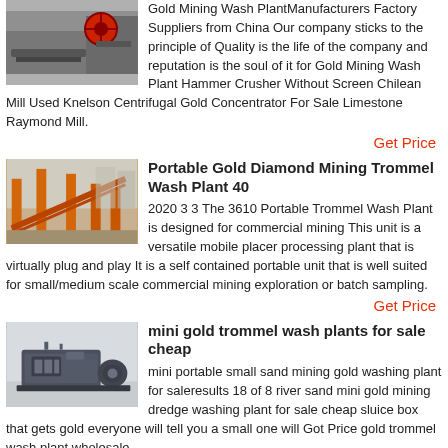[Figure (photo): Photo of a gold mining wash plant with red machinery component]
Gold Mining Wash PlantManufacturers Factory Suppliers from China Our company sticks to the principle of Quality is the life of the company and reputation is the soul of it for Gold Mining Wash Plant Hammer Crusher Without Screen Chilean Mill Used Knelson Centrifugal Gold Concentrator For Sale Limestone Raymond Mill.
Get Price
[Figure (photo): Photo of a portable gold diamond mining trommel wash plant with orange frame structure]
Portable Gold Diamond Mining Trommel Wash Plant 40
2020 3 3 The 3610 Portable Trommel Wash Plant is designed for commercial mining This unit is a versatile mobile placer processing plant that is virtually plug and play It is a self contained portable unit that is well suited for small/medium scale commercial mining exploration or batch sampling.
Get Price
[Figure (photo): Photo of mini gold trommel wash plant machinery in a factory/warehouse setting]
mini gold trommel wash plants for sale cheap
mini portable small sand mining gold washing plant for saleresults 18 of 8 river sand mini gold mining dredge washing plant for sale cheap sluice box that gets gold everyone will tell you a small one will Get Price gold trommel wash plant wholesale